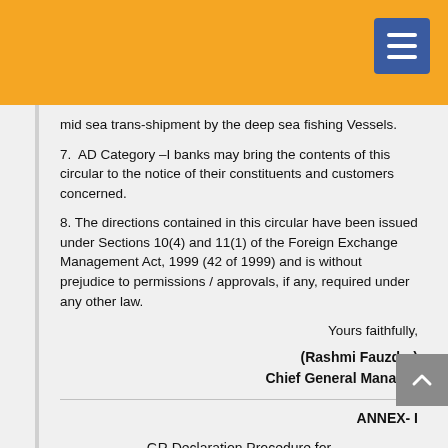mid sea trans-shipment by the deep sea fishing Vessels.
7.  AD Category –I banks may bring the contents of this circular to the notice of their constituents and customers concerned.
8. The directions contained in this circular have been issued under Sections 10(4) and 11(1) of the Foreign Exchange Management Act, 1999 (42 of 1999) and is without prejudice to permissions / approvals, if any, required under any other law.
Yours faithfully,
(Rashmi Fauzdar)
Chief General Manager
ANNEX- I
GR Declaration Procedure for Mid-sea Trans-shipment of Catch by Deep Sea Fishing Vessel
(i). The exporters may submit the GR form, duly signed by the